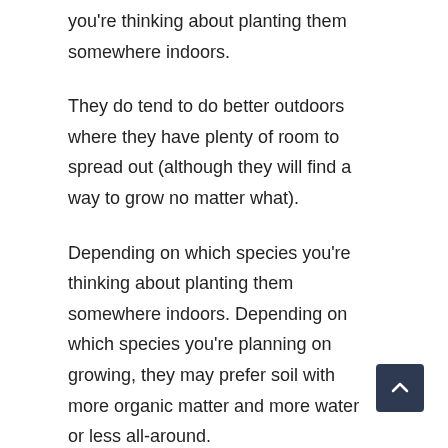you're thinking about planting them somewhere indoors.
They do tend to do better outdoors where they have plenty of room to spread out (although they will find a way to grow no matter what).
Depending on which species you're planning on growing, they may prefer soil with more organic matter and more water or less all-around.
Measures for Prevention and Corrective Action
Don't look for a specific rule to water your hydrangeas as this would require you to factor in